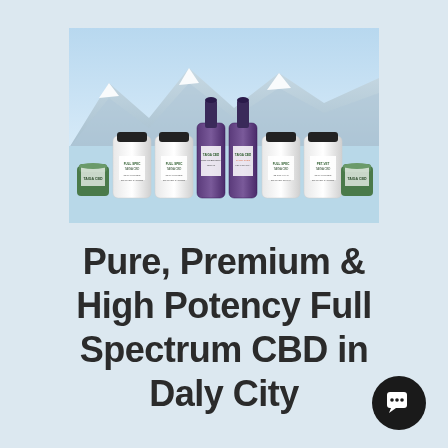[Figure (photo): A product photo showing a lineup of CBD supplement bottles and tinctures (white pill bottles, purple dropper bottles, small jars) arranged against a mountain and sky background. Labels read 'TAIGA CBD', 'FULL SPECTRUM', 'PET-VET' and similar.]
Pure, Premium & High Potency Full Spectrum CBD in Daly City